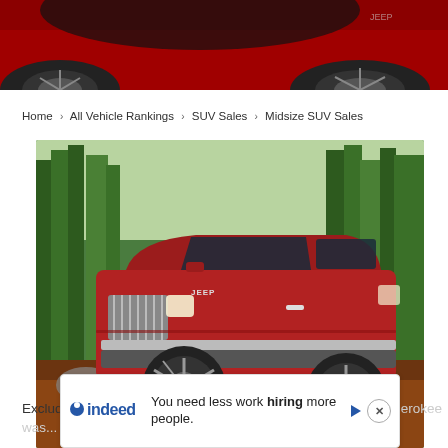[Figure (photo): Close-up top strip of a red Jeep SUV showing the hood, windshield, front wheel, and side panel against a dark background]
Home > All Vehicle Rankings > SUV Sales > Midsize SUV Sales
[Figure (photo): A red Jeep Grand Cherokee SUV parked in a forest setting with green trees in the background and autumn leaves on the ground]
Excluding the Ford Police Interceptor Utility, the Jeep Grand Cherokee was... 7 units...